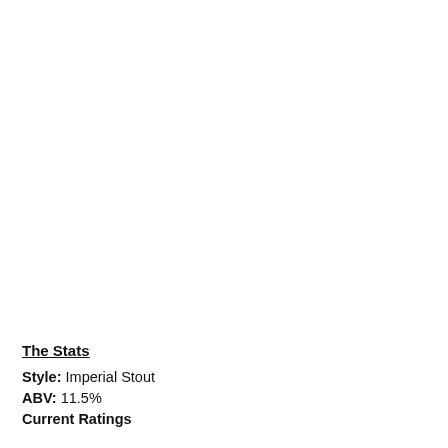The Stats
Style: Imperial Stout
ABV: 11.5%
Current Ratings